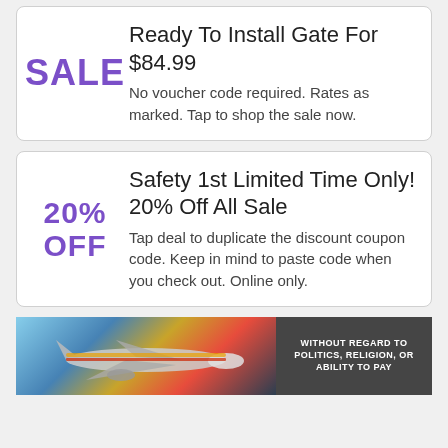Ready To Install Gate For $84.99
No voucher code required. Rates as marked. Tap to shop the sale now.
Safety 1st Limited Time Only! 20% Off All Sale
Tap deal to duplicate the discount coupon code. Keep in mind to paste code when you check out. Online only.
[Figure (photo): Advertisement banner showing an airplane being loaded with cargo, with a dark overlay text box reading 'WITHOUT REGARD TO POLITICS, RELIGION, OR ABILITY TO PAY']